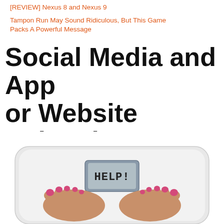[REVIEW] Nexus 8 and Nexus 9
Tampon Run May Sound Ridiculous, But This Game Packs A Powerful Message
Social Media and App or Website Related News:
[Figure (photo): Person standing on a bathroom scale, feet with pink nail polish visible, scale display reading HELP!]